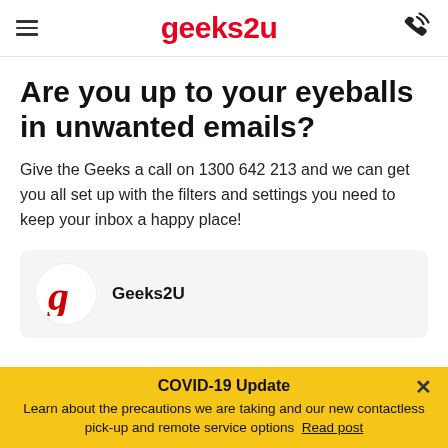geeks2u
Are you up to your eyeballs in unwanted emails?
Give the Geeks a call on 1300 642 213 and we can get you all set up with the filters and settings you need to keep your inbox a happy place!
[Figure (logo): Geeks2U brand logo with red 'g' letterform]
Geeks2U
COVID-19 Update
Learn about the precautions we are taking and our new contactless pick-up and remote service options  Read post